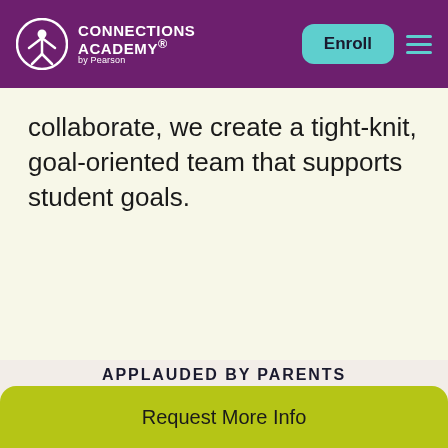Connections Academy by Pearson — Enroll
collaborate, we create a tight-knit, goal-oriented team that supports student goals.
APPLAUDED BY PARENTS
The Opini...
Request More Info